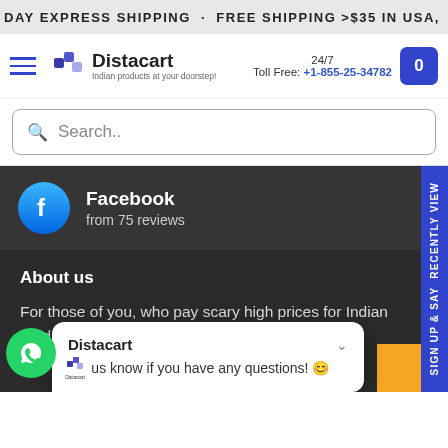DAY EXPRESS SHIPPING . FREE SHIPPING >$35 IN USA, >$69
Distacart
Indian products at your doorstep!
24/7 Toll Free: +1-855-25-34782
Search..
[Figure (logo): Facebook logo circle with 'f' icon]
Facebook
from 75 reviews
About us
For those of you, who pay scary high prices for Indian products. Distacart lets you buy directly from lo...
Sign up & say RECENTLY VIEW
Distacart
Let us know if you have any questions! 😊